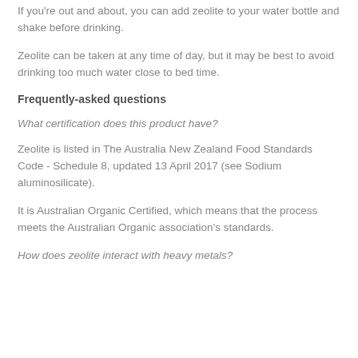If you're out and about, you can add zeolite to your water bottle and shake before drinking.
Zeolite can be taken at any time of day, but it may be best to avoid drinking too much water close to bed time.
Frequently-asked questions
What certification does this product have?
Zeolite is listed in The Australia New Zealand Food Standards Code - Schedule 8, updated 13 April 2017 (see Sodium aluminosilicate).
It is Australian Organic Certified, which means that the process meets the Australian Organic association's standards.
How does zeolite interact with heavy metals?